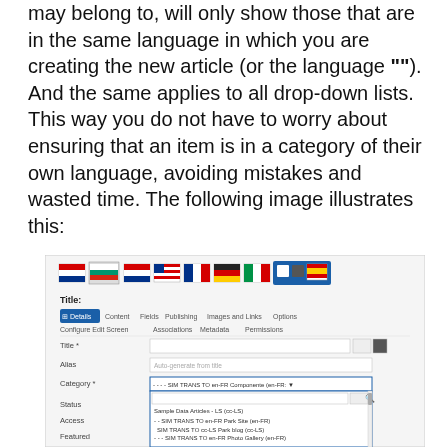may belong to, will only show those that are in the same language in which you are creating the new article (or the language ""). And the same applies to all drop-down lists. This way you do not have to worry about ensuring that an item is in a category of their own language, avoiding mistakes and wasted time. The following image illustrates this:
[Figure (screenshot): Joomla article edit screen showing language flags at top, title field, tabs (Details, Content, Fields, Publishing, Images and Links, Options, Configure Edit Screen, Associations, Metadata, Permissions), and a Category dropdown with multilingual SIM TRANS TO entries filtered by language.]